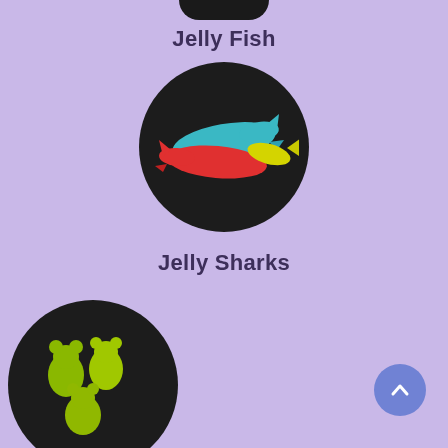[Figure (photo): Partial dark circular disc visible at top of page]
Jelly Fish
[Figure (photo): Dark circular disc with colorful gummy shark candies (red, teal/blue, yellow) on a black round plate]
Jelly Sharks
[Figure (photo): Dark circular disc with yellow/green gummy bear candies on a black round plate]
[Figure (illustration): Blue circular scroll-to-top button with upward chevron arrow]